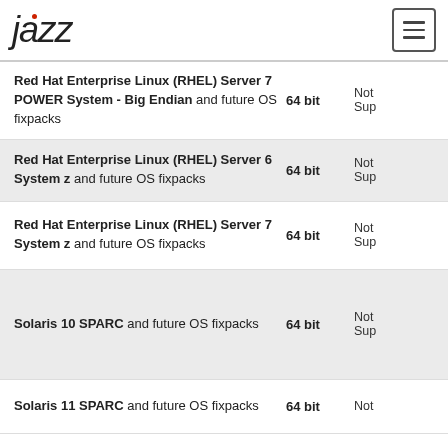Jazz (logo) and hamburger menu
| Operating System | Bits | Support |
| --- | --- | --- |
| Red Hat Enterprise Linux (RHEL) Server 7 POWER System - Big Endian and future OS fixpacks | 64 bit | Not Sup... |
| Red Hat Enterprise Linux (RHEL) Server 6 System z and future OS fixpacks | 64 bit | Not Sup... |
| Red Hat Enterprise Linux (RHEL) Server 7 System z and future OS fixpacks | 64 bit | Not Sup... |
| Solaris 10 SPARC and future OS fixpacks | 64 bit | Not Sup... |
| Solaris 11 SPARC and future OS fixpacks | 64 bit | Not... |